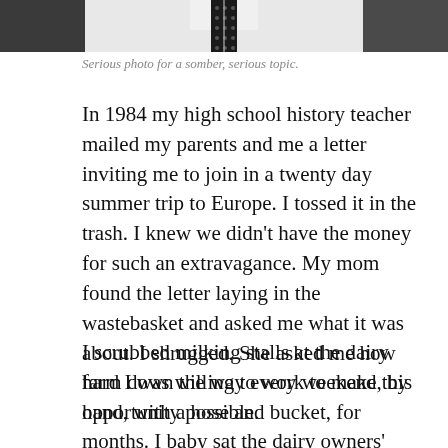[Figure (photo): Black and white photo of a person, cropped to show from neck/shoulders, wearing a white shirt and dark dotted tie. Only the lower portion of the face/neck area and upper torso are visible.]
Serious photo for a somber, serious topic.
In 1984 my high school history teacher mailed my parents and me a letter inviting me to join in a twenty day summer trip to Europe. I tossed it in the trash. I knew we didn't have the money for such an extravagance. My mom found the letter laying in the wastebasket and asked me what it was about. I shrugged. She asked me how hard I was willing to work to make this opportunity possible.
I scrubbed milking stalls at the dairy farm down the way every weekend, by hand, with a hose and bucket, for months. I baby sat the dairy owners' kids, made them dinner and cleaned…